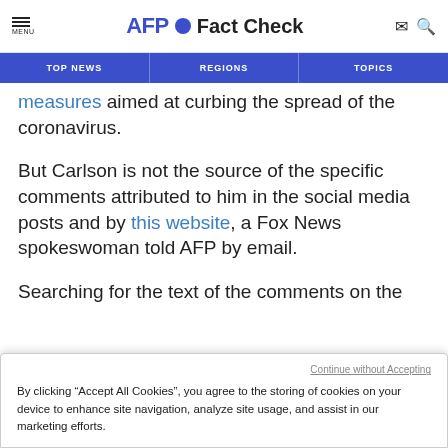AFP Fact Check
TOP NEWS | REGIONS | TOPICS
measures aimed at curbing the spread of the coronavirus.
But Carlson is not the source of the specific comments attributed to him in the social media posts and by this website, a Fox News spokeswoman told AFP by email.
Searching for the text of the comments on the
Continue without Accepting
By clicking “Accept All Cookies”, you agree to the storing of cookies on your device to enhance site navigation, analyze site usage, and assist in our marketing efforts.